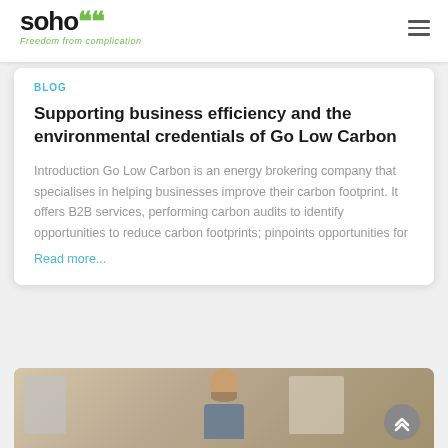soho" Freedom from complication
BLOG
Supporting business efficiency and the environmental credentials of Go Low Carbon
Introduction Go Low Carbon is an energy brokering company that specialises in helping businesses improve their carbon footprint. It offers B2B services, performing carbon audits to identify opportunities to reduce carbon footprints; pinpoints opportunities for
Read more...
[Figure (photo): Partial view of a man talking on the phone in an office environment, with whiteboards visible in the background]